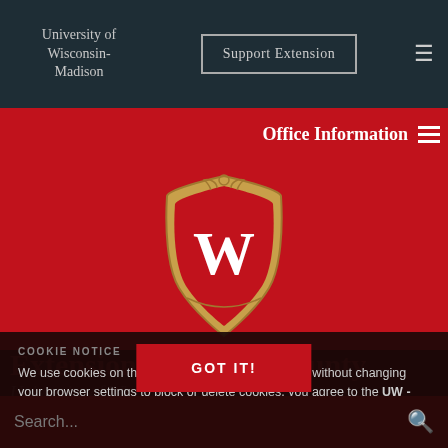University of Wisconsin-Madison
Support Extension
Office Information
[Figure (logo): University of Wisconsin-Madison crest/shield logo with W emblem on red background]
Extension Waupaca County
University of Wisconsin-Madison
COOKIE NOTICE
We use cookies on this site. By continuing to browse without changing your browser settings to block or delete cookies, you agree to the UW - Madison Privacy Notice.
GOT IT!
Search...